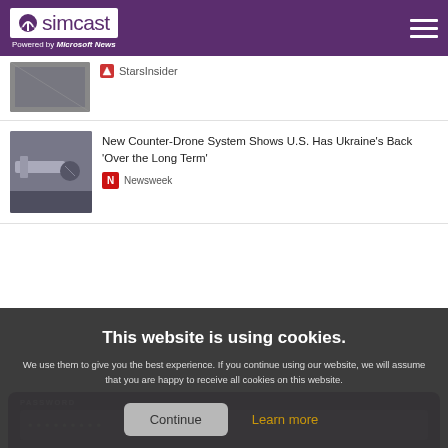simcast — Powered by Microsoft News
[Figure (screenshot): Partial news item thumbnail for StarsInsider article]
StarsInsider
[Figure (photo): Drone defense system photo]
New Counter-Drone System Shows U.S. Has Ukraine's Back 'Over the Long Term'
Newsweek
This website is using cookies.
We use them to give you the best experience. If you continue using our website, we will assume that you are happy to receive all cookies on this website.
Continue
Learn more
PASSWORD
•••••••••
Remember me